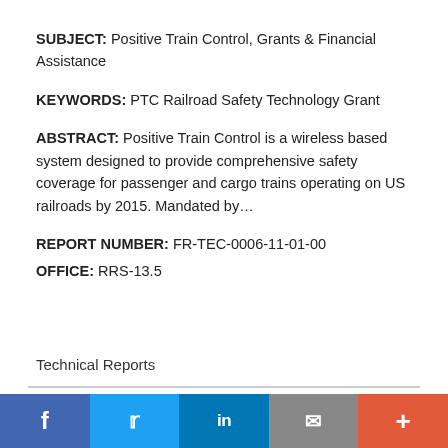SUBJECT: Positive Train Control, Grants & Financial Assistance
KEYWORDS: PTC Railroad Safety Technology Grant
ABSTRACT: Positive Train Control is a wireless based system designed to provide comprehensive safety coverage for passenger and cargo trains operating on US railroads by 2015. Mandated by…
REPORT NUMBER: FR-TEC-0006-11-01-00
OFFICE: RRS-13.5
8 Jan 2015
Technical Reports